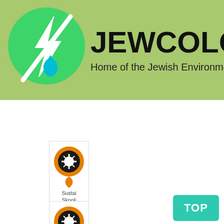[Figure (logo): Jewcology.org website header with green circular logo featuring a water drop and lightning bolt, site title JEWCOLOGY.ORG in bold black, subtitle Home of the Jewish Environmental Movement]
[Figure (screenshot): Website listing card 1: Jewcology vegan club, with orange/black location pin icon]
Jewco vegan club
[Figure (screenshot): Website listing card 2: Sustainable Skoolie Adventures, with orange/black location pin icon]
Sustai Skooli Adven
[Figure (screenshot): Website listing card 3: Outdoor Jewish Adventures, with orange/black location pin icon]
Outdo Jewish Adven